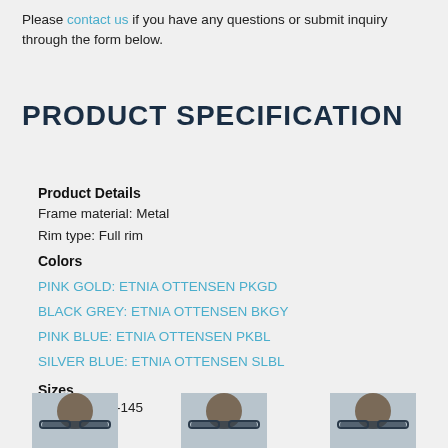Please contact us if you have any questions or submit inquiry through the form below.
PRODUCT SPECIFICATION
Product Details
Frame material: Metal
Rim type: Full rim
Colors
PINK GOLD: ETNIA OTTENSEN PKGD
BLACK GREY: ETNIA OTTENSEN BKGY
PINK BLUE: ETNIA OTTENSEN PKBL
SILVER BLUE: ETNIA OTTENSEN SLBL
Sizes
Small: 50-20-145
[Figure (photo): Three photos of a person wearing eyeglasses, partially cropped at the bottom of the page]